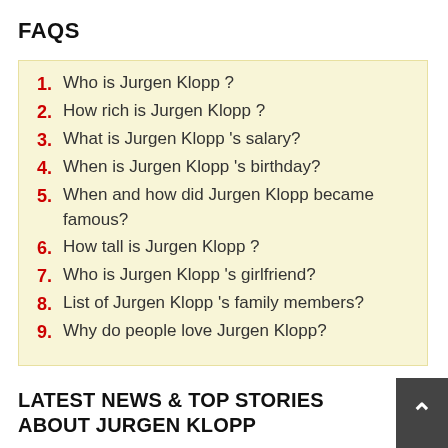FAQS
1. Who is Jurgen Klopp ?
2. How rich is Jurgen Klopp ?
3. What is Jurgen Klopp 's salary?
4. When is Jurgen Klopp 's birthday?
5. When and how did Jurgen Klopp became famous?
6. How tall is Jurgen Klopp ?
7. Who is Jurgen Klopp 's girlfriend?
8. List of Jurgen Klopp 's family members?
9. Why do people love Jurgen Klopp?
LATEST NEWS & TOP STORIES ABOUT JURGEN KLOPP